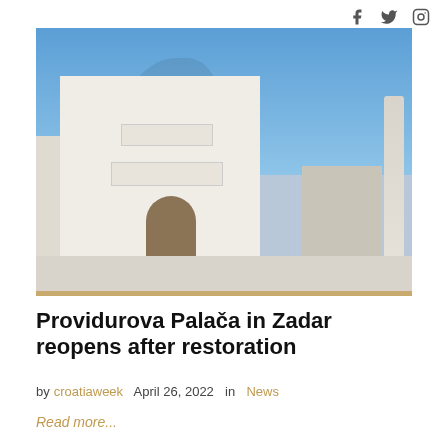social icons: f (Facebook), Twitter, Instagram
[Figure (photo): Exterior photo of Providurova Palača (Rector's Palace) in Zadar, Croatia. A large white Renaissance-style building with arched windows, balconies, and an arched entrance. A tall Roman column is visible on the right side. Bare winter trees cast shadows on the building facade. Clear blue sky in the background. People and a van visible in the foreground plaza.]
Providurova Palača in Zadar reopens after restoration
by croatiaweek   April 26, 2022  in  News
Read more...